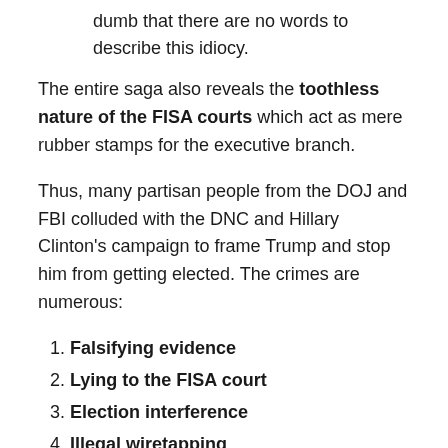dumb that there are no words to describe this idiocy.
The entire saga also reveals the toothless nature of the FISA courts which act as mere rubber stamps for the executive branch.
Thus, many partisan people from the DOJ and FBI colluded with the DNC and Hillary Clinton's campaign to frame Trump and stop him from getting elected. The crimes are numerous:
Falsifying evidence
Lying to the FISA court
Election interference
Illegal wiretapping
Andrew McCabe has resigned; Strzok and Ohr have been demoted; Comey was fired; and Yates resigned. But who's